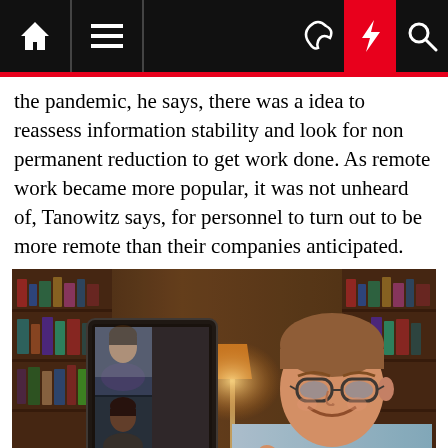Home | Menu | Dark mode | Flash | Search
the pandemic, he says, there was a idea to reassess information stability and look for non permanent reduction to get work done. As remote work became more popular, it was not unheard of, Tanowitz says, for personnel to turn out to be more remote than their companies anticipated.
[Figure (photo): A man wearing glasses sitting at a desk in a library, smiling and gesturing while participating in a video call on a large monitor showing other participants.]